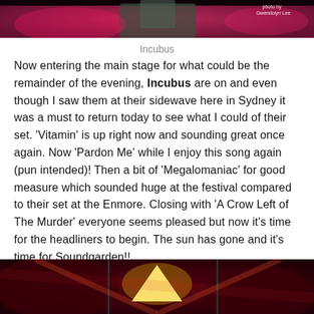[Figure (photo): Concert photo showing a performer on stage with red/pink lighting, partially visible at top of page. Photo credit: Gwendolyn Lee]
Incubus
Now entering the main stage for what could be the remainder of the evening, Incubus are on and even though I saw them at their sidewave here in Sydney it was a must to return today to see what I could of their set. 'Vitamin' is up right now and sounding great once again. Now 'Pardon Me' while I enjoy this song again (pun intended)! Then a bit of 'Megalomaniac' for good measure which sounded huge at the festival compared to their set at the Enmore. Closing with 'A Crow Left of The Murder' everyone seems pleased but now it's time for the headliners to begin. The sun has gone and it's time for Soundgarden!!
[Figure (photo): Stage setup photo with red lighting, triangular pyramid light display, microphone stands visible, dark atmospheric concert setting]